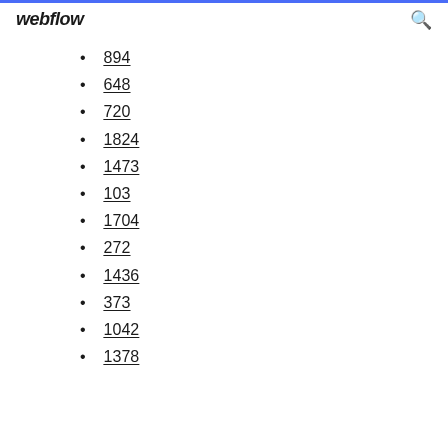webflow
894
648
720
1824
1473
103
1704
272
1436
373
1042
1378